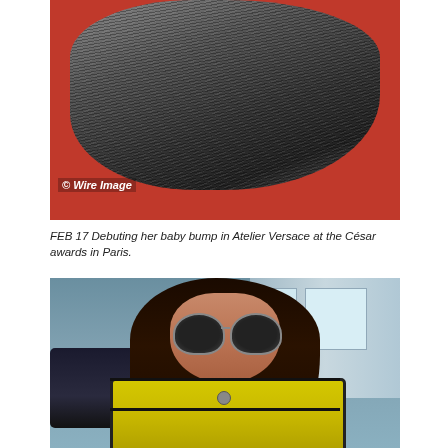[Figure (photo): Close-up photo of a dark grey fur item on a red background with Wire Image watermark]
FEB 17 Debuting her baby bump in Atelier Versace at the César awards in Paris.
[Figure (photo): Woman wearing large dark heart-shaped sunglasses and a bright yellow coat with black trim, photographed outdoors]